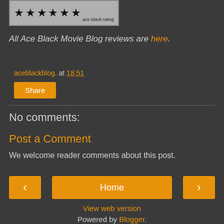[Figure (other): Ace Black star rating image showing 6 black stars on a grey background with 'ace black rating' label]
All Ace Black Movie Blog reviews are here.
aceblackblog. at 18:51
Share
No comments:
Post a Comment
We welcome reader comments about this post.
< Home >
View web version
Powered by Blogger.